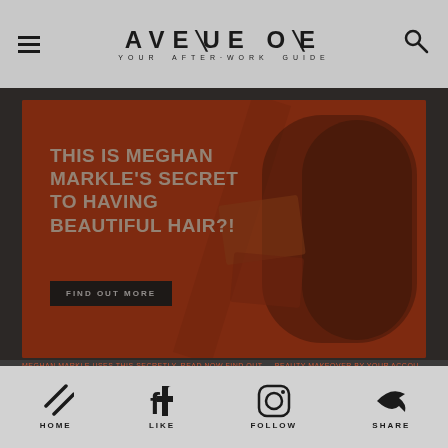AVENUE ONE — YOUR AFTER-WORK GUIDE
[Figure (photo): Promotional advertisement banner with orange/red background showing Meghan Markle hair product ad with text 'THIS IS MEGHAN MARKLE'S SECRET TO HAVING BEAUTIFUL HAIR?!' and a 'FIND OUT MORE' button]
MEGHAN MARKLE USES THIS SECRETLY, READ NOW FIND OUT — BEAUTY MAKEOVER BY YOUR ACCOUNT
[Figure (photo): Content teaser image split into two panels: left side shows collage/illustration, right side shows woman with auburn hair]
LOOKING TO
HOME   LIKE   FOLLOW   SHARE